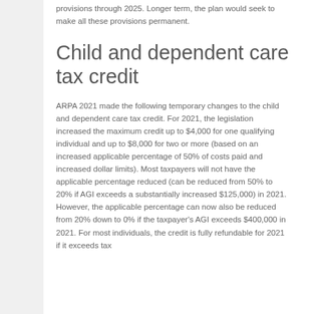provisions through 2025. Longer term, the plan would seek to make all these provisions permanent.
Child and dependent care tax credit
ARPA 2021 made the following temporary changes to the child and dependent care tax credit. For 2021, the legislation increased the maximum credit up to $4,000 for one qualifying individual and up to $8,000 for two or more (based on an increased applicable percentage of 50% of costs paid and increased dollar limits). Most taxpayers will not have the applicable percentage reduced (can be reduced from 50% to 20% if AGI exceeds a substantially increased $125,000) in 2021. However, the applicable percentage can now also be reduced from 20% down to 0% if the taxpayer's AGI exceeds $400,000 in 2021. For most individuals, the credit is fully refundable for 2021 if it exceeds tax